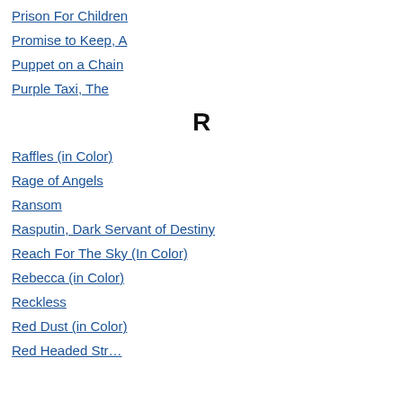Prison For Children
Promise to Keep, A
Puppet on a Chain
Purple Taxi, The
R
Raffles (in Color)
Rage of Angels
Ransom
Rasputin, Dark Servant of Destiny
Reach For The Sky (In Color)
Rebecca (in Color)
Reckless
Red Dust (in Color)
Red Headed Str…